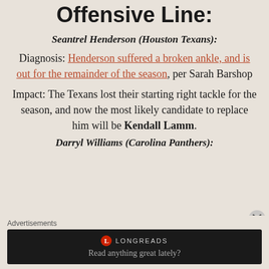Offensive Line:
Seantrel Henderson (Houston Texans):
Diagnosis: Henderson suffered a broken ankle, and is out for the remainder of the season, per Sarah Barshop
Impact: The Texans lost their starting right tackle for the season, and now the most likely candidate to replace him will be Kendall Lamm.
Darryl Williams (Carolina Panthers):
Advertisements
[Figure (other): Longreads advertisement banner with text: Read anything great lately?]